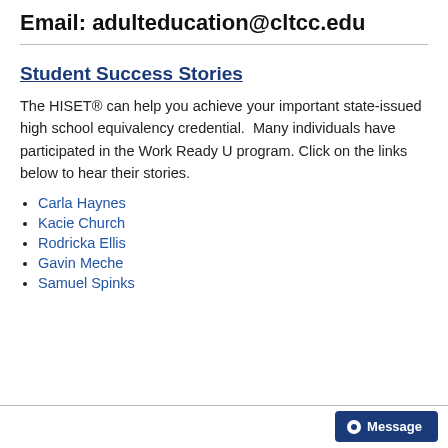Email: adulteducation@cltcc.edu
Student Success Stories
The HISET® can help you achieve your important state-issued high school equivalency credential.  Many individuals have participated in the Work Ready U program. Click on the links below to hear their stories.
Carla Haynes
Kacie Church
Rodricka Ellis
Gavin Meche
Samuel Spinks